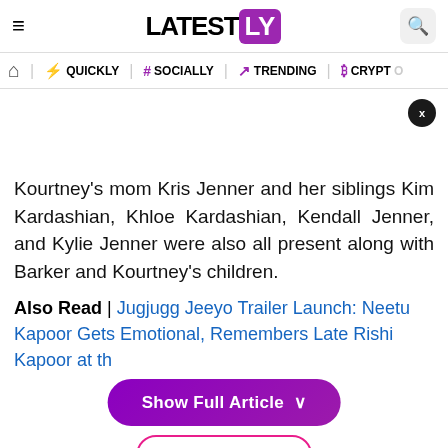LATESTLY
QUICKLY | # SOCIALLY | TRENDING | CRYPTO
Kourtney's mom Kris Jenner and her siblings Kim Kardashian, Khloe Kardashian, Kendall Jenner, and Kylie Jenner were also all present along with Barker and Kourtney's children.
Also Read | Jugjugg Jeeyo Trailer Launch: Neetu Kapoor Gets Emotional, Remembers Late Rishi Kapoor at the
Show Full Article ∨
These Italia... han a week